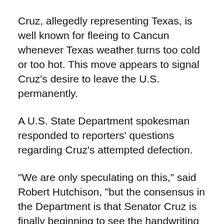Cruz, allegedly representing Texas, is well known for fleeing to Cancun whenever Texas weather turns too cold or too hot. This move appears to signal Cruz’s desire to leave the U.S. permanently.
A U.S. State Department spokesman responded to reporters’ questions regarding Cruz’s attempted defection.
“We are only speculating on this,” said Robert Hutchison, “but the consensus in the Department is that Senator Cruz is finally beginning to see the handwriting on the wall. He’s starting to see that he is in serious trouble over his involvement in the January 6 insurrection. He may also have finally learned that literally no one actually likes him.”